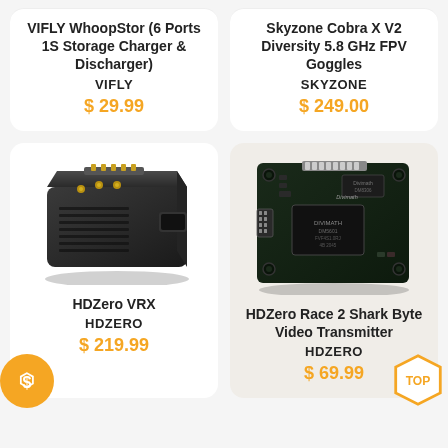[Figure (other): Product card: VIFLY WhoopStor (6 Ports 1S Storage Charger & Discharger) by VIFLY, price $29.99]
[Figure (other): Product card: Skyzone Cobra X V2 Diversity 5.8 GHz FPV Goggles by SKYZONE, price $249.00]
[Figure (photo): HDZero VRX device photo - black rectangular electronic component with gold connectors]
[Figure (photo): HDZero Race 2 Shark Byte Video Transmitter PCB photo - green circuit board with Divimath branding, TOP badge overlay]